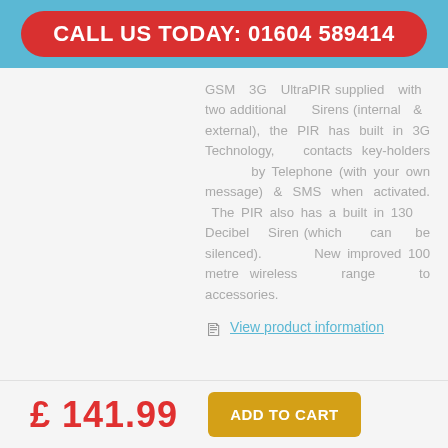CALL US TODAY: 01604 589414
GSM 3G UltraPIR supplied with two additional Sirens (internal & external), the PIR has built in 3G Technology, contacts key-holders by Telephone (with your own message) & SMS when activated. The PIR also has a built in 130 Decibel Siren (which can be silenced). New improved 100 metre wireless range to accessories.
View product information
£ 141.99
ADD TO CART